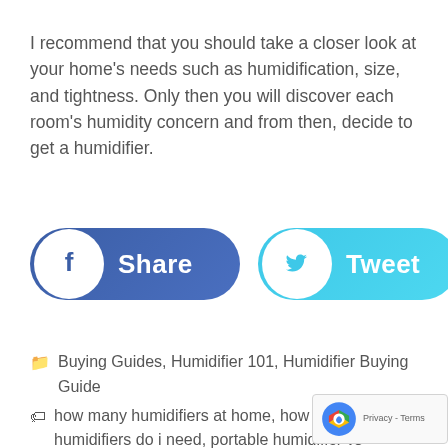I recommend that you should take a closer look at your home's needs such as humidification, size, and tightness. Only then you will discover each room's humidity concern and from then, decide to get a humidifier.
[Figure (other): Facebook Share button (blue rounded pill) and Twitter Tweet button (light blue rounded pill) with respective social media icons]
Buying Guides, Humidifier 101, Humidifier Buying Guide
how many humidifiers at home, how many humidifiers do i need, portable humidifier vs